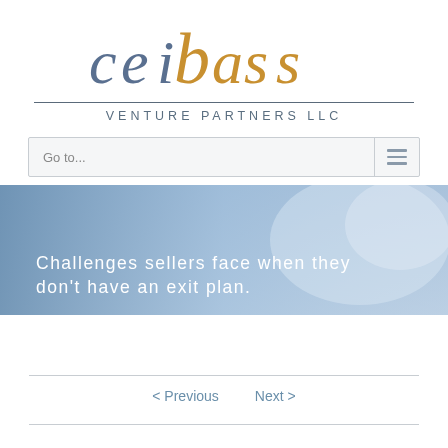[Figure (logo): Ceibass Venture Partners LLC logo — stylized text 'ceibass' with 'cei' in blue-grey and 'bass' in gold/amber, above a horizontal divider and 'VENTURE PARTNERS LLC' in spaced grey caps]
Go to...
[Figure (infographic): Hero banner with light blue gradient/photo background showing text: 'Challenges sellers face when they don't have an exit plan.']
< Previous   Next >